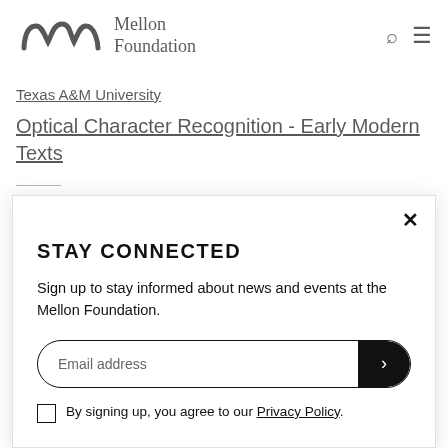[Figure (logo): Mellon Foundation logo with stylized 'm' and text 'Mellon Foundation']
Texas A&M University
Optical Character Recognition - Early Modern Texts
STAY CONNECTED
Sign up to stay informed about news and events at the Mellon Foundation.
Email address
By signing up, you agree to our Privacy Policy.
Charleston, SC, United States